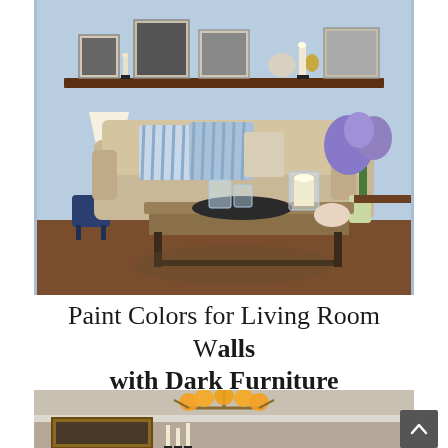[Figure (photo): Living room interior with a beige sofa, striped blue and white pillows, a dark wood floating shelf above displaying framed photos, candles, and decor, a glass coffee table with candles and decorative items, a floor lamp on the left, purple flowers on the right, and a blue decorative stool. Light blue walls.]
Paint Colors for Living Room Walls with Dark Furniture
[Figure (photo): Living room with dark taupe/beige walls, white crown molding, an ornate gold chandelier with amber globe lights, a large framed painting on the wall, black candlestick holders with white candles. Partial view at bottom of page.]